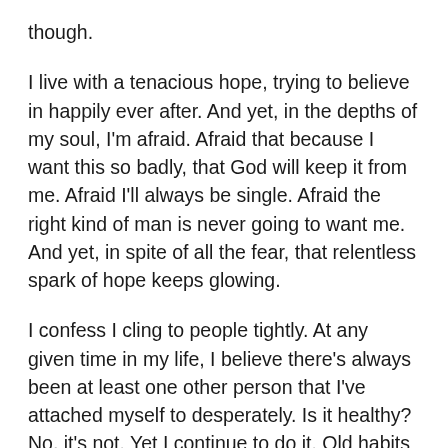though.
I live with a tenacious hope, trying to believe in happily ever after. And yet, in the depths of my soul, I'm afraid. Afraid that because I want this so badly, that God will keep it from me. Afraid I'll always be single. Afraid the right kind of man is never going to want me. And yet, in spite of all the fear, that relentless spark of hope keeps glowing.
I confess I cling to people tightly. At any given time in my life, I believe there's always been at least one other person that I've attached myself to desperately. Is it healthy? No, it's not. Yet I continue to do it. Old habits die hard, it is said. Underneath my crazy committment, I think there might be a little girl begging for validation. I'm sure we could dig deep into my past and figure out what the source of the craziness is, but that's a whole